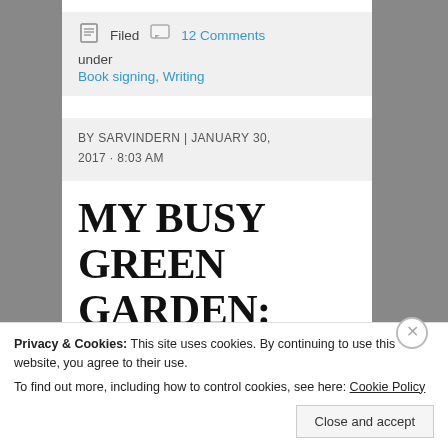Filed   12 Comments
under
Book signing, Writing
BY SARVINDERN | JANUARY 30, 2017 · 8:03 AM
MY BUSY GREEN GARDEN:
Privacy & Cookies: This site uses cookies. By continuing to use this website, you agree to their use.
To find out more, including how to control cookies, see here: Cookie Policy
Close and accept